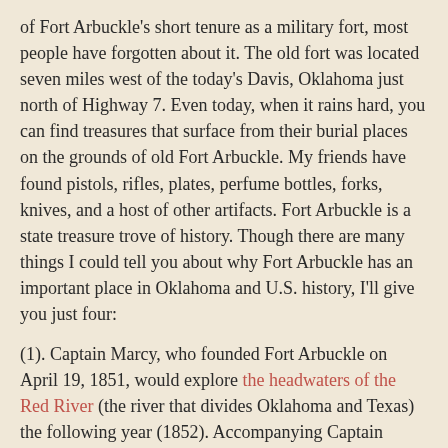of Fort Arbuckle's short tenure as a military fort, most people have forgotten about it. The old fort was located seven miles west of the today's Davis, Oklahoma just north of Highway 7. Even today, when it rains hard, you can find treasures that surface from their burial places on the grounds of old Fort Arbuckle. My friends have found pistols, rifles, plates, perfume bottles, forks, knives, and a host of other artifacts. Fort Arbuckle is a state treasure trove of history. Though there are many things I could tell you about why Fort Arbuckle has an important place in Oklahoma and U.S. history, I'll give you just four:
(1). Captain Marcy, who founded Fort Arbuckle on April 19, 1851, would explore the headwaters of the Red River (the river that divides Oklahoma and Texas) the following year (1852). Accompanying Captain Marcy for that Red River exploration was a young lieutenant named George B. McClellan. Young George would eventually fall in love with Captain Marcy's daughter Mary Ellen (Nelly) Marcy, and the two would marry. McClellan would later be promoted to General at the beginning of the Civil War, and President Abraham Lincoln would eventually appoint McClellan as the